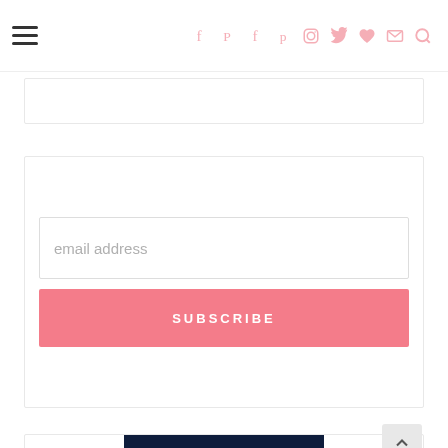Navigation bar with hamburger menu and social icons (Facebook, Pinterest, Facebook, Pinterest, Instagram, Twitter, Bloglovin, Email, Search)
[Figure (screenshot): Partial white card with border at top of content area]
[Figure (screenshot): Email subscription widget with an email address input field and a pink SUBSCRIBE button]
[Figure (logo): Jane.com advertisement banner showing dark navy background with white dotted circle logo and JANE text]
[Figure (other): Back-to-top arrow button (chevron up) on right side]